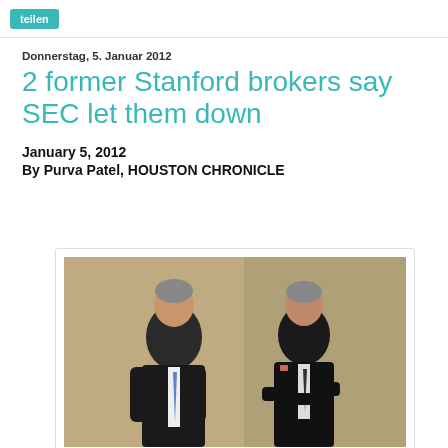teilen
Donnerstag, 5. Januar 2012
2 former Stanford brokers say SEC let them down
January 5, 2012
By Purva Patel, HOUSTON CHRONICLE
[Figure (photo): Two men in dark suits posing for a professional portrait photo against a neutral background. The man on the left wears a blue tie; the man on the right has his arms crossed.]